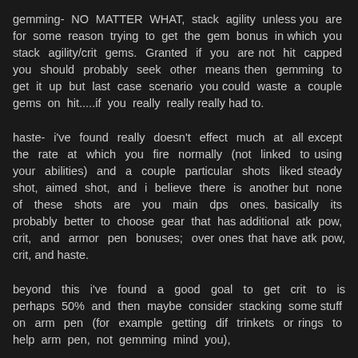gemming- NO MATTER WHAT, stack agility unless you are for some reason trying to get the gem bonus in which you stack agility/crit gems. Granted if you are not hit capped you should probably seek other means then gemming to get it up but last case scenario you could waste a couple gems on hit.....if you really really really had to.
haste- i've found really doesn't effect much at all except the rate at which you fire normally (not linked to using your abilities) and a couple particular shots liked steady shot, aimed shot, and i believe there is another but none of these shots are you main dps ones. basically its probably better to choose gear that has additional atk pow, crit, and armor pen bonuses; over ones that have atk pow, crit, and haste.
beyond this i've found a good goal to get crit to is perhaps 50% and then maybe consider stacking some stuff on arm pen (for example getting dif trinkets or rings to help arm pen, not gemming mind you),